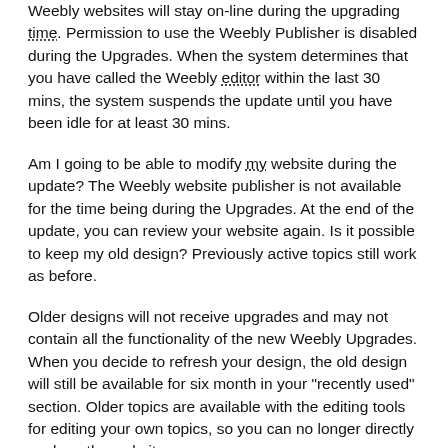Weebly websites will stay on-line during the upgrading time. Permission to use the Weebly Publisher is disabled during the Upgrades. When the system determines that you have called the Weebly editor within the last 30 mins, the system suspends the update until you have been idle for at least 30 mins.
Am I going to be able to modify my website during the update? The Weebly website publisher is not available for the time being during the Upgrades. At the end of the update, you can review your website again. Is it possible to keep my old design? Previously active topics still work as before.
Older designs will not receive upgrades and may not contain all the functionality of the new Weebly Upgrades. When you decide to refresh your design, the old design will still be available for six month in your "recently used" section. Older topics are available with the editing tools for editing your own topics, so you can no longer directly work on the website.
Featuring more than one theme, each customized section you drop on the page works like a mini-site and can contain more than one theme such as colors, wallpapers, text, pictures, and videos. Chose challenging store front themes from a wide